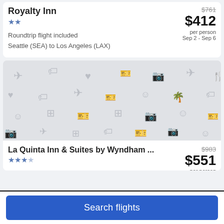Royalty Inn
★★
$761 $412 per person Sep 2 - Sep 6
Roundtrip flight included
Seattle (SEA) to Los Angeles (LAX)
[Figure (photo): Placeholder image with travel-related icons on grey background]
La Quinta Inn & Suites by Wyndham ...
★★★½
$983 $551 per person
Search flights